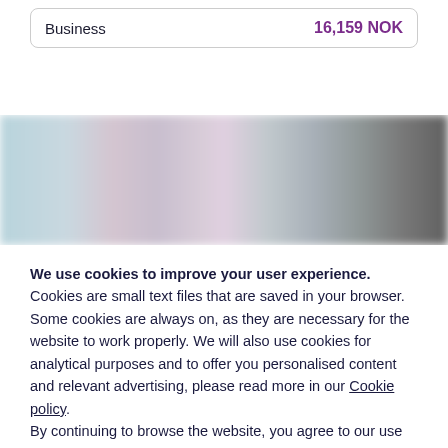| Business | 16,159 NOK |
[Figure (photo): Blurred photograph of what appears to be an interior scene, with light blue/teal tones on the left transitioning to gray/dark tones on the right.]
We use cookies to improve your user experience. Cookies are small text files that are saved in your browser. Some cookies are always on, as they are necessary for the website to work properly. We will also use cookies for analytical purposes and to offer you personalised content and relevant advertising, please read more in our Cookie policy. By continuing to browse the website, you agree to our use of cookies. You can change your cookie preferences at any time.
Close
Set your cookie preferences